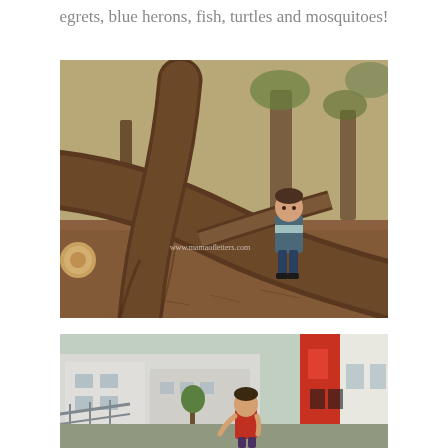egrets, blue herons, fish, turtles and mosquitoes!
[Figure (photo): A young boy sitting among the large twisted roots of a fallen or leaning tree in a park-like outdoor setting with mulch ground cover and trees in background. Watermark: www.mamaofletters.com]
[Figure (photo): A young boy playing outdoors near colorful buildings (white and red) with a playground or urban street setting visible in the background.]